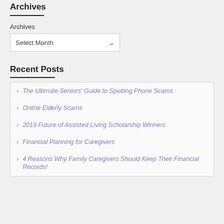Archives
Archives
Select Month
Recent Posts
The Ultimate Seniors' Guide to Spotting Phone Scams
Online Elderly Scams
2019 Future of Assisted Living Scholarship Winners
Financial Planning for Caregivers
4 Reasons Why Family Caregivers Should Keep Their Financial Records!